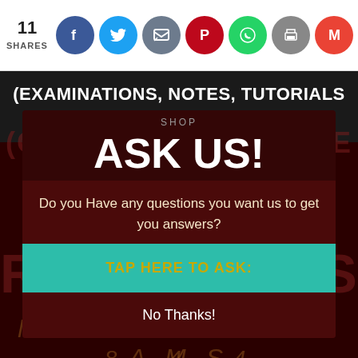11 SHARES
(EXAMINATIONS, NOTES, TUTORIALS AND REPORTS)
SHOP
ASK US!
Do you Have any questions you want us to get you answers?
TAP HERE TO ASK:
No Thanks!